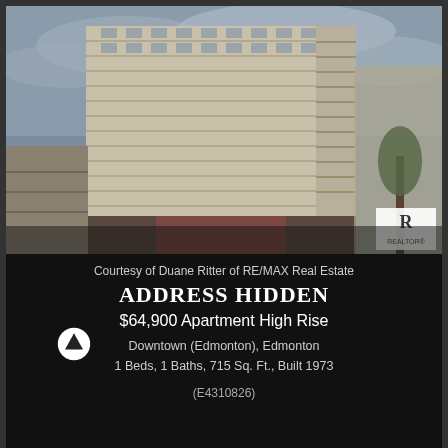[Figure (photo): Exterior photo of a tall apartment high-rise building with multiple balconies, beige/tan concrete facade, cloudy sky, street level view, REALTOR logo in bottom right corner of photo]
Courtesy of Duane Ritter of RE/MAX Real Estate
ADDRESS HIDDEN
$64,900 Apartment High Rise
Downtown (Edmonton), Edmonton
1 Beds, 1 Baths, 715 Sq. Ft., Built 1973
(E4310826)